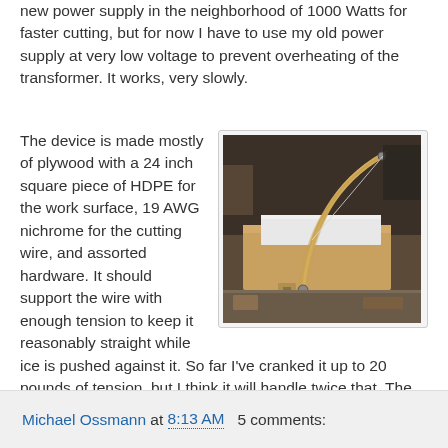new power supply in the neighborhood of 1000 Watts for faster cutting, but for now I have to use my old power supply at very low voltage to prevent overheating of the transformer. It works, very slowly.
The device is made mostly of plywood with a 24 inch square piece of HDPE for the work surface, 19 AWG nichrome for the cutting wire, and assorted hardware. It should support the wire with enough tension to keep it reasonably straight while ice is pushed against it. So far I've cranked it up to 20 pounds of tension, but I think it will handle twice that. The cutting angle is adjustable to 45 degrees to either side. I still need to add an adjustable fence and rulers for the fence position and cutting angle.
[Figure (photo): Photo of a homemade hot wire foam/ice cutter device made of plywood with an arched wire arm, showing the work surface and cutting wire assembly on a workbench.]
Michael Ossmann at 8:13 AM   5 comments: